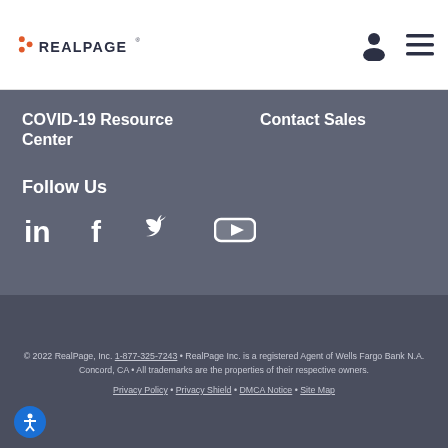RealPage logo, user icon, menu icon
COVID-19 Resource Center
Contact Sales
Follow Us
[Figure (infographic): Social media icons: LinkedIn, Facebook, Twitter, YouTube]
© 2022 RealPage, Inc. 1-877-325-7243 • RealPage Inc. is a registered Agent of Wells Fargo Bank N.A. Concord, CA • All trademarks are the properties of their respective owners. Privacy Policy • Privacy Shield • DMCA Notice • Site Map